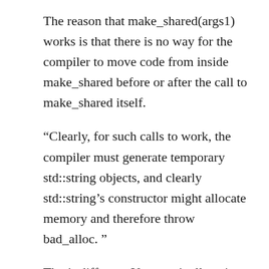The reason that make_shared(args1) works is that there is no way for the compiler to move code from inside make_shared before or after the call to make_shared itself.
“Clearly, for such calls to work, the compiler must generate temporary std::string objects, and clearly std::string’s constructor might allocate memory and therefore throw bad_alloc. ”
That’s different. You aren’t allocating memory and passing it to the std::string constructor, it’s the std::string constructor that is allocating the memory.